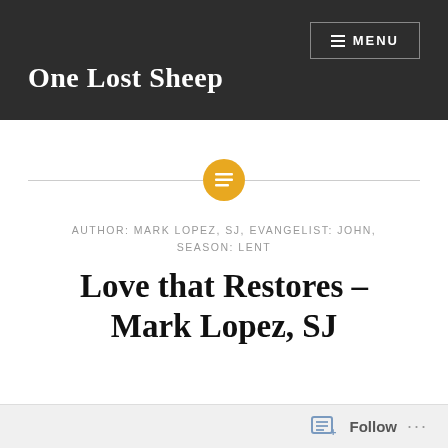One Lost Sheep
[Figure (other): Horizontal divider line with a circular amber/gold icon containing a list/document symbol in the center]
AUTHOR: MARK LOPEZ, SJ, EVANGELIST: JOHN, SEASON: LENT
Love that Restores – Mark Lopez, SJ
Follow